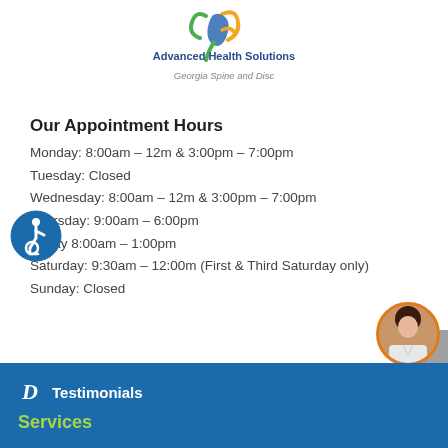[Figure (logo): Advanced Health Solutions - Georgia Spine and Disc logo with colorful figure graphic]
Our Appointment Hours
Monday: 8:00am – 12m & 3:00pm – 7:00pm
Tuesday: Closed
Wednesday: 8:00am – 12m & 3:00pm – 7:00pm
Thursday: 9:00am – 6:00pm
Friday 8:00am – 1:00pm
Saturday: 9:30am – 12:00m (First & Third Saturday only)
Sunday: Closed
[Figure (illustration): Wheelchair accessibility icon - circular blue badge with person in wheelchair symbol]
[Figure (illustration): Scroll-to-top button, gray with upward arrow]
[Figure (photo): Agent/representative photo in orange circular bubble]
Testimonials
Services